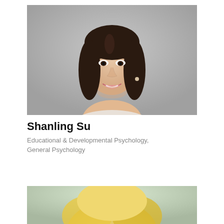[Figure (photo): Headshot of a young Asian woman with straight dark brown shoulder-length hair, smiling, wearing a light-colored top, against a gray background.]
Shanling Su
Educational & Developmental Psychology, General Psychology
[Figure (photo): Partial headshot of a blonde woman, cropped showing top of head, against a blurred light background.]